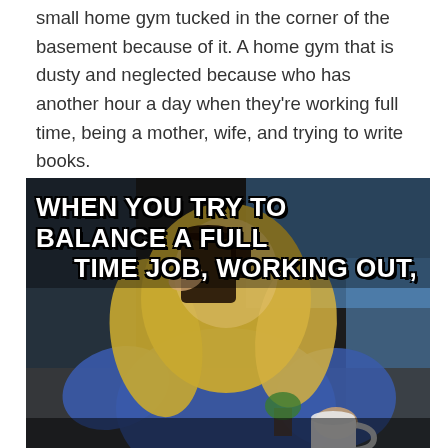small home gym tucked in the corner of the basement because of it. A home gym that is dusty and neglected because who has another hour a day when they're working full time, being a mother, wife, and trying to write books.
[Figure (photo): A meme image showing a woman with long blonde hair in a blue robe drinking directly from a coffee pot while holding a white mug. White bold text overlay reads: WHEN YOU TRY TO BALANCE A FULL TIME JOB, WORKING OUT,]